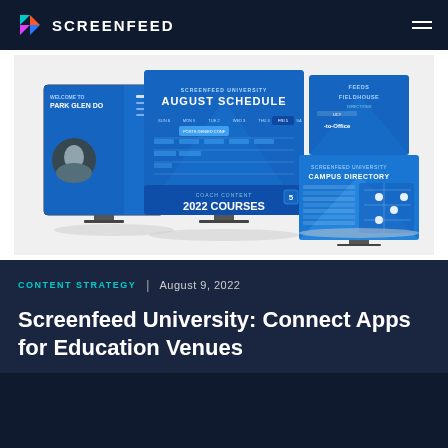SCREENFEED
[Figure (screenshot): Three monitor screens showing Screenfeed University digital signage templates: a welcome screen with 'Park Glen Dor...', an August Schedule with 2022 Courses, and a Feeds Fieldhouse Campus Directory.]
CONTENT STRATEGY | August 9, 2022
Screenfeed University: Connect Apps for Education Venues